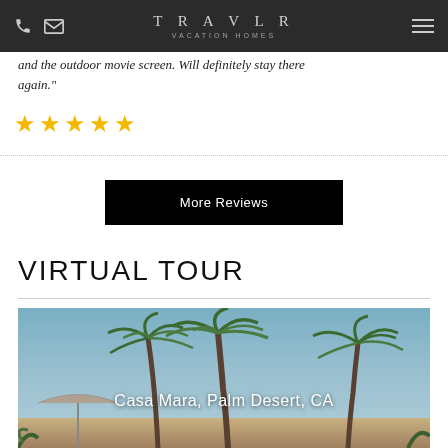TRAVLR VACATION HOMES
and the outdoor movie screen. Will definitely stay there again."
[Figure (other): Five gold star rating icons]
[Figure (other): More Reviews button - black rectangle with white text]
VIRTUAL TOUR
[Figure (photo): Outdoor photo of palm trees against a blue sky with a patio umbrella visible at the bottom. Text overlay reads: Casa Mara, Palm Desert, CA]